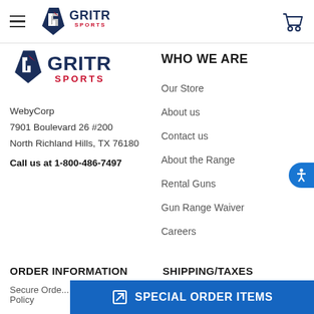GriTR Sports header navigation bar
[Figure (logo): GriTR Sports logo - navy blue diamond shield with red and white G letter, text GRITR SPORTS]
WebyCorp
7901 Boulevard 26 #200
North Richland Hills, TX 76180
Call us at 1-800-486-7497
WHO WE ARE
Our Store
About us
Contact us
About the Range
Rental Guns
Gun Range Waiver
Careers
ORDER INFORMATION
SHIPPING/TAXES
Secure Orde... Policy
SPECIAL ORDER ITEMS